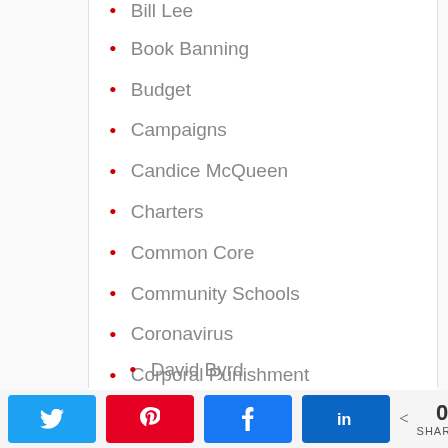Bill Lee
Book Banning
Budget
Campaigns
Candice McQueen
Charters
Common Core
Community Schools
Coronavirus
Corporal Punishment
DACA
David Byrd
0 SHARES